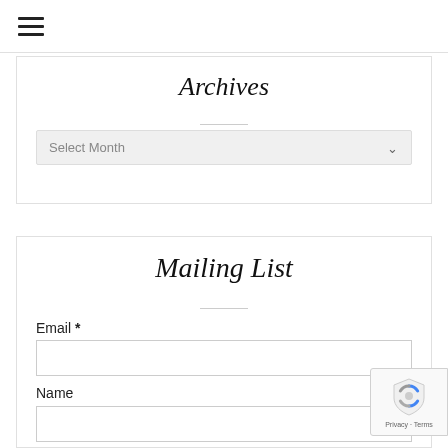hamburger menu icon
Archives
[Figure (other): Select Month dropdown widget with light gray background and chevron arrow]
Mailing List
Email *
Name
[Figure (other): reCAPTCHA badge widget with blue/gray shield logo and Privacy - Terms text]